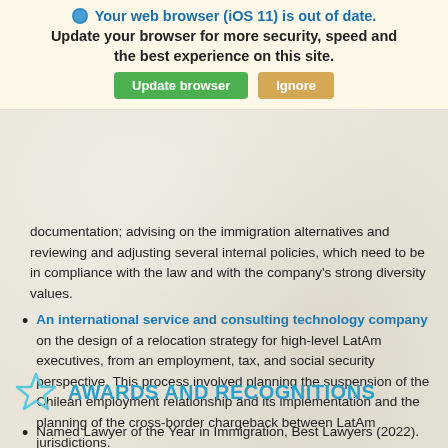[Figure (screenshot): Browser update notification banner with globe icon, bold blue title 'Your web browser (iOS 11) is out of date.', subtitle 'Update your browser for more security, speed and the best experience on this site.', and two buttons: green 'Update browser' and tan 'Ignore']
documentation; advising on the immigration alternatives and reviewing and adjusting several internal policies, which need to be in compliance with the law and with the company’s strong diversity values.
An international service and consulting technology company on the design of a relocation strategy for high-level LatAm executives, from an employment, tax, and social security perspective. This process involved planning the suspension of the Chilean employment relationship and its implementation and the planning of the cross-border chargeback between LatAm jurisdictions.
AWARDS AND RECOGNITIONS
Named Lawyer of the Year in Immigration, Best Lawyers (2022).